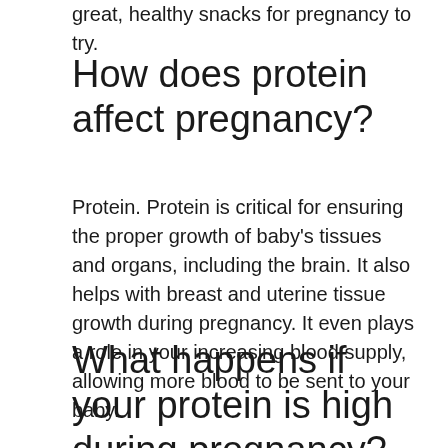great, healthy snacks for pregnancy to try.
How does protein affect pregnancy?
Protein. Protein is critical for ensuring the proper growth of baby's tissues and organs, including the brain. It also helps with breast and uterine tissue growth during pregnancy. It even plays a role in your increasing blood supply, allowing more blood to be sent to your baby.
What happens if your protein is high during pregnancy?